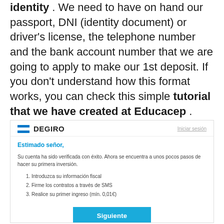identity . We need to have on hand our passport, DNI (identity document) or driver's license, the telephone number and the bank account number that we are going to apply to make our 1st deposit. If you don't understand how this format works, you can check this simple tutorial that we have created at Educacep .
[Figure (screenshot): DEGIRO email screenshot showing account verification confirmation with steps to complete first investment and a 'Siguiente' button]